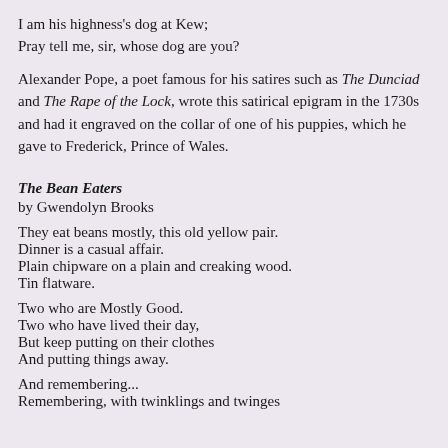I am his highness's dog at Kew;
Pray tell me, sir, whose dog are you?
Alexander Pope, a poet famous for his satires such as The Dunciad and The Rape of the Lock, wrote this satirical epigram in the 1730s and had it engraved on the collar of one of his puppies, which he gave to Frederick, Prince of Wales.
The Bean Eaters
by Gwendolyn Brooks
They eat beans mostly, this old yellow pair.
Dinner is a casual affair.
Plain chipware on a plain and creaking wood.
Tin flatware.
Two who are Mostly Good.
Two who have lived their day,
But keep putting on their clothes
And putting things away.
And remembering...
Remembering, with twinklings and twinges